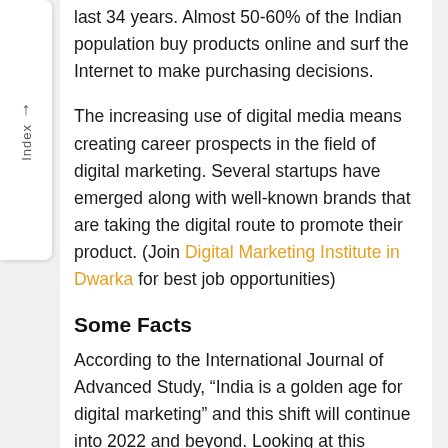last 34 years. Almost 50-60% of the Indian population buy products online and surf the Internet to make purchasing decisions.
The increasing use of digital media means creating career prospects in the field of digital marketing. Several startups have emerged along with well-known brands that are taking the digital route to promote their product. (Join Digital Marketing Institute in Dwarka for best job opportunities)
Some Facts
According to the International Journal of Advanced Study, “India is a golden age for digital marketing” and this shift will continue into 2022 and beyond. Looking at this scenario today, it’s easy to say that India’s digital market is still in its early stages and will